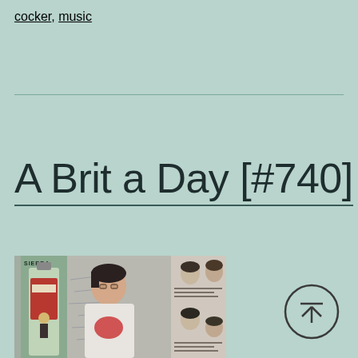cocker, music
A Brit a Day [#740]
[Figure (photo): Photo of a young man with dark hair wearing a white t-shirt with a red graphic, standing near a Sierra bottle and posters on a wall]
[Figure (other): Circular up-arrow navigation button]